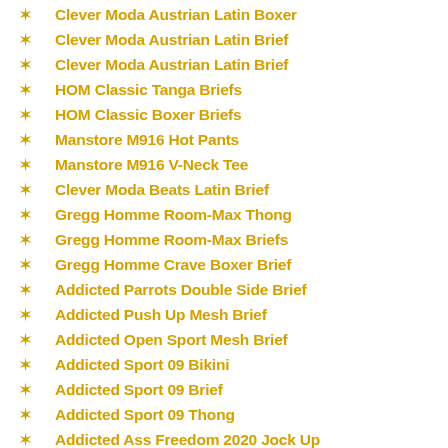Clever Moda Austrian Latin Boxer
Clever Moda Austrian Latin Brief
Clever Moda Austrian Latin Brief
HOM Classic Tanga Briefs
HOM Classic Boxer Briefs
Manstore M916 Hot Pants
Manstore M916 V-Neck Tee
Clever Moda Beats Latin Brief
Gregg Homme Room-Max Thong
Gregg Homme Room-Max Briefs
Gregg Homme Crave Boxer Brief
Addicted Parrots Double Side Brief
Addicted Push Up Mesh Brief
Addicted Open Sport Mesh Brief
Addicted Sport 09 Bikini
Addicted Sport 09 Brief
Addicted Sport 09 Thong
Addicted Ass Freedom 2020 Jock Up
Addicted Flames Series Jock Up Brief